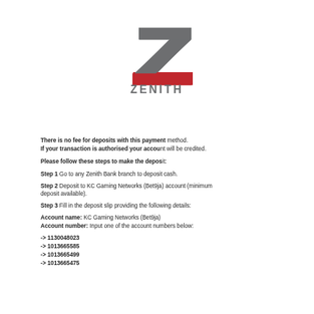[Figure (logo): Zenith Bank logo — a stylized Z shape in gray and red with the word ZENITH below in gray letters]
There is no fee for deposits with this payment method. If your transaction is authorised your account will be credited.
Please follow these steps to make the deposit:
Step 1 Go to any Zenith Bank branch to deposit cash.
Step 2 Deposit to KC Gaming Networks (Bet9ja) account (minimum deposit available).
Step 3 Fill in the deposit slip providing the following details:
Account name: KC Gaming Networks (Bet9ja)
Account number: Input one of the account numbers below:
--> 1130048023
--> 1013665585
--> 1013665499
--> 1013665475